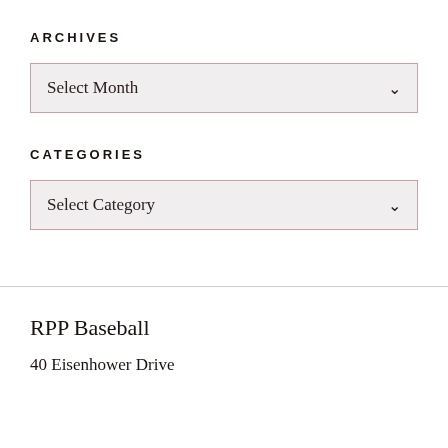ARCHIVES
Select Month
CATEGORIES
Select Category
RPP Baseball
40 Eisenhower Drive